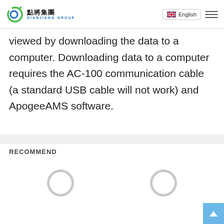Dianjiang Group — 點將集團 DIANJIANG GROUP — English
viewed by downloading the data to a computer. Downloading data to a computer requires the AC-100 communication cable (a standard USB cable will not work) and ApogeeAMS software.
RECOMMEND
[Figure (other): Two circular loading spinner placeholders side by side in the Recommend section]